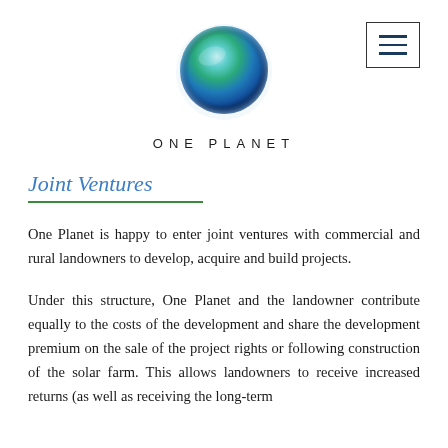[Figure (logo): One Planet logo: a glossy blue-green sphere/circle with gradient, above the text ONE PLANET in spaced capitals]
Joint Ventures
One Planet is happy to enter joint ventures with commercial and rural landowners to develop, acquire and build projects.
Under this structure, One Planet and the landowner contribute equally to the costs of the development and share the development premium on the sale of the project rights or following construction of the solar farm. This allows landowners to receive increased returns (as well as receiving the long-term